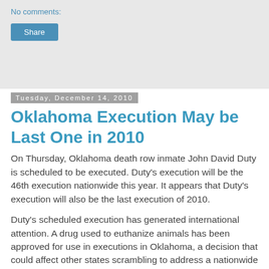No comments:
Share
Tuesday, December 14, 2010
Oklahoma Execution May be Last One in 2010
On Thursday, Oklahoma death row inmate John David Duty is scheduled to be executed. Duty's execution will be the 46th execution nationwide this year. It appears that Duty's execution will also be the last execution of 2010.
Duty's scheduled execution has generated international attention. A drug used to euthanize animals has been approved for use in executions in Oklahoma, a decision that could affect other states scrambling to address a nationwide shortage of a key anesthetic used in executions, reported the Wall Street Journal.
The shortage of sodium thiopental, an anesthetic used for